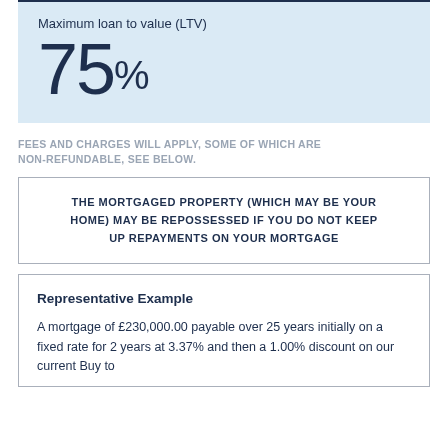Maximum loan to value (LTV)
75%
FEES AND CHARGES WILL APPLY, SOME OF WHICH ARE NON-REFUNDABLE, SEE BELOW.
THE MORTGAGED PROPERTY (WHICH MAY BE YOUR HOME) MAY BE REPOSSESSED IF YOU DO NOT KEEP UP REPAYMENTS ON YOUR MORTGAGE
Representative Example
A mortgage of £230,000.00 payable over 25 years initially on a fixed rate for 2 years at 3.37% and then a 1.00% discount on our current Buy to